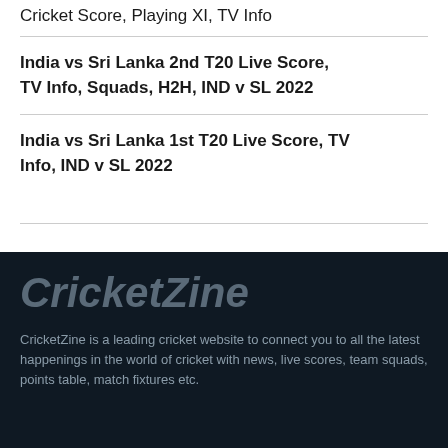Cricket Score, Playing XI, TV Info
India vs Sri Lanka 2nd T20 Live Score, TV Info, Squads, H2H, IND v SL 2022
India vs Sri Lanka 1st T20 Live Score, TV Info, IND v SL 2022
CricketZine
CricketZine is a leading cricket website to connect you to all the latest happenings in the world of cricket with news, live scores, team squads, points table, match fixtures etc.